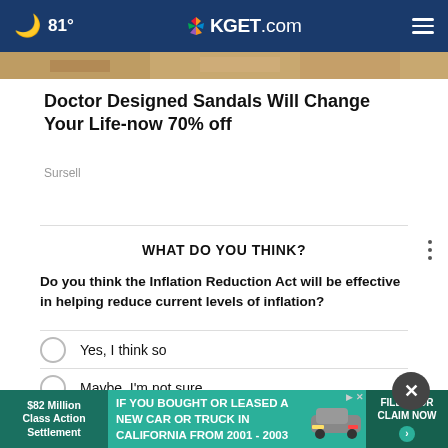🌙 81° | KGET.com
[Figure (photo): Partial photo strip showing sandy/earthy tones background]
Doctor Designed Sandals Will Change Your Life-now 70% off
Sursell
WHAT DO YOU THINK?
Do you think the Inflation Reduction Act will be effective in helping reduce current levels of inflation?
Yes, I think so
Maybe, I'm not sure
No, I don't think so
Other
[Figure (screenshot): Bottom advertisement banner: $82 Million Class Action Settlement — IF YOU BOUGHT OR LEASED A NEW CAR OR TRUCK IN CALIFORNIA FROM 2001 - 2003 — FILE YOUR CLAIM NOW]